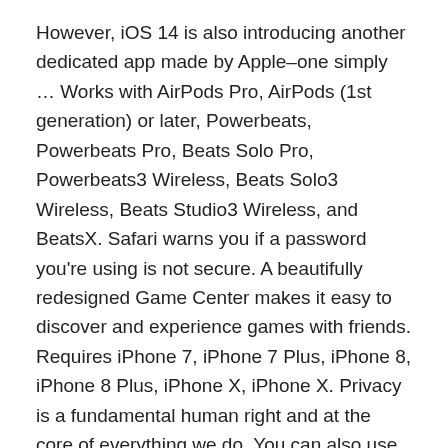However, iOS 14 is also introducing another dedicated app made by Apple–one simply … Works with AirPods Pro, AirPods (1st generation) or later, Powerbeats, Powerbeats Pro, Beats Solo Pro, Powerbeats3 Wireless, Beats Solo3 Wireless, Beats Studio3 Wireless, and BeatsX. Safari warns you if a password you're using is not secure. A beautifully redesigned Game Center makes it easy to discover and experience games with friends. Requires iPhone 7, iPhone 7 Plus, iPhone 8, iPhone 8 Plus, iPhone X, iPhone X. Privacy is a fundamental human right and at the core of everything we do. You can also use the microphone button to talk into Translate instead of typing. Widgets have been totally redesigned to give you more information at a glance — and now you can add them to your Home Screen. A small part of an app, an App Clip is discoverable the moment you need it and is focused on a specific task. Testing conducted by Apple in August 2020 using MotionMark 1.1 and Speedometer 2.0 performance benchmarks. Just turn your phone